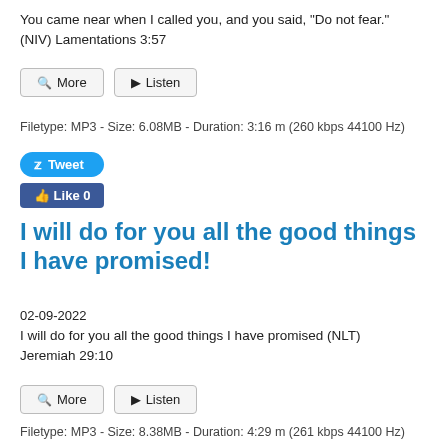You came near when I called you, and you said, “Do not fear.” (NIV) Lamentations 3:57
Filetype: MP3 - Size: 6.08MB - Duration: 3:16 m (260 kbps 44100 Hz)
I will do for you all the good things I have promised!
02-09-2022
I will do for you all the good things I have promised (NLT) Jeremiah 29:10
Filetype: MP3 - Size: 8.38MB - Duration: 4:29 m (261 kbps 44100 Hz)